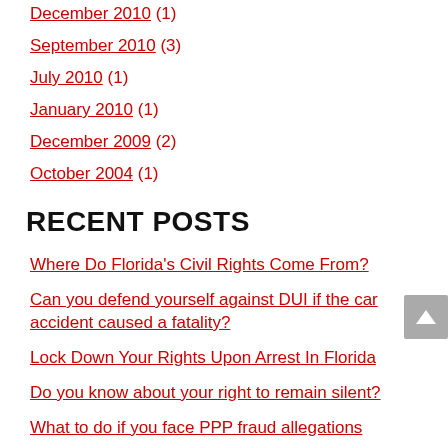December 2010 (1)
September 2010 (3)
July 2010 (1)
January 2010 (1)
December 2009 (2)
October 2004 (1)
RECENT POSTS
Where Do Florida's Civil Rights Come From?
Can you defend yourself against DUI if the car accident caused a fatality?
Lock Down Your Rights Upon Arrest In Florida
Do you know about your right to remain silent?
What to do if you face PPP fraud allegations